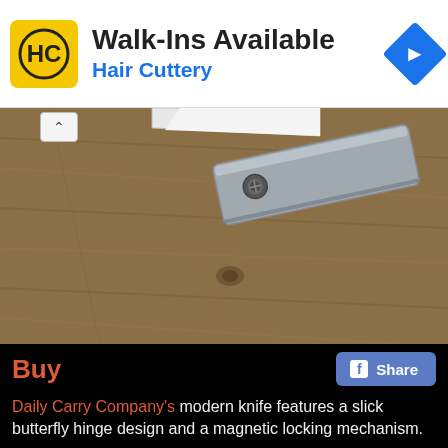[Figure (other): Advertisement banner for Hair Cuttery with yellow HC logo, text 'Walk-Ins Available' and 'Hair Cuttery' in blue, and a blue diamond-shaped arrow icon on the right.]
[Figure (photo): Close-up photo of a sleek modern folding knife with a silver/titanium handle resting on a wooden surface. The knife is partially open showing the blade at the top. A pivot screw is visible near the top of the handle.]
Buy
f Share
Daily Carry Company's modern knife features a slick butterfly hinge design and a magnetic locking mechanism.